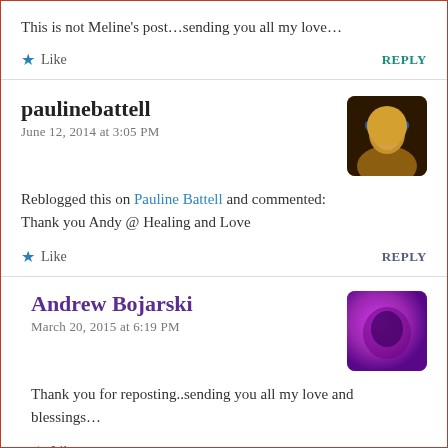This is not Meline’s post…sending you all my love…
Like   REPLY
paulinebattell
June 12, 2014 at 3:05 PM
[Figure (photo): Avatar photo of paulinebattell showing a figure with a blue hat against a dark background]
Reblogged this on Pauline Battell and commented:
Thank you Andy @ Healing and Love
Like   REPLY
Andrew Bojarski
March 20, 2015 at 6:19 PM
[Figure (photo): Avatar photo of Andrew Bojarski showing a purple/pink circular image]
Thank you for reposting..sending you all my love and blessings…
Like   REPLY